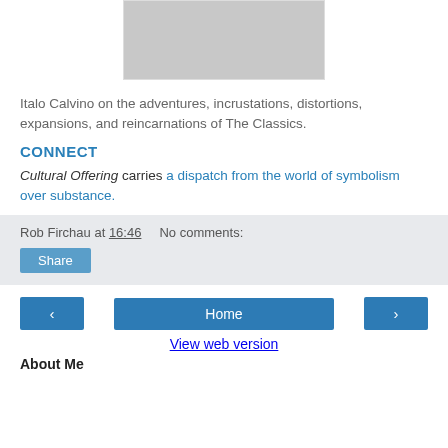[Figure (photo): Black and white photo of a man reading a book, partially visible at top of page]
Italo Calvino on the adventures, incrustations, distortions, expansions, and reincarnations of The Classics.
CONNECT
Cultural Offering carries a dispatch from the world of symbolism over substance.
Rob Firchau at 16:46    No comments:
Share
Home
View web version
About Me